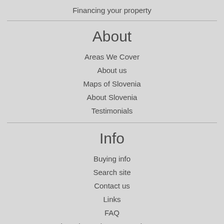Financing your property
About
Areas We Cover
About us
Maps of Slovenia
About Slovenia
Testimonials
Info
Buying info
Search site
Contact us
Links
FAQ
Slovenia Real Estate Market Data